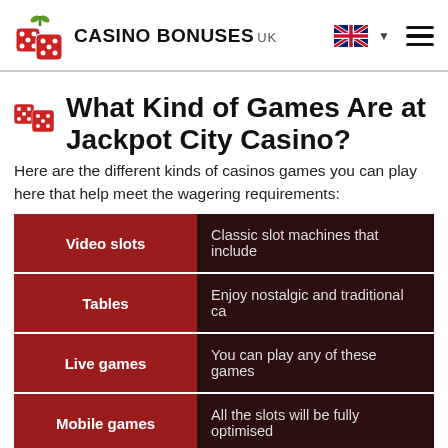CASINO BONUSES UK
What Kind of Games Are at Jackpot City Casino?
Here are the different kinds of casinos games you can play here that help meet the wagering requirements:
|  |  |
| --- | --- |
| Video slots | Classic slot machines that include |
| Tables | Enjoy nostalgic and traditional ca |
| Live games | You can play any of these games |
| Mobile games | All the slots will be fully optimised |
How to Deposit the Money to Jackpot City Casino?